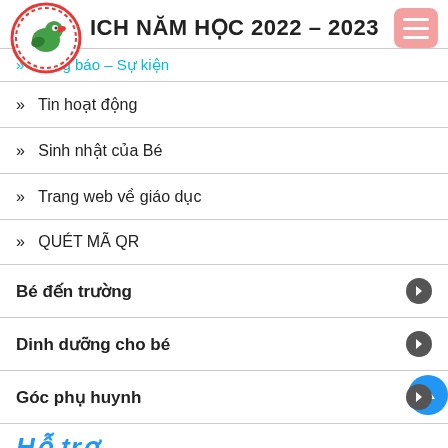ICH NĂM HỌC 2022 – 2023
» Thông báo – Sự kiện
» Tin hoạt động
» Sinh nhật của Bé
» Trang web về giáo dục
» QUÉT MÃ QR
Bé đến trường
Dinh dưỡng cho bé
Góc phụ huynh
Hỗ trợ